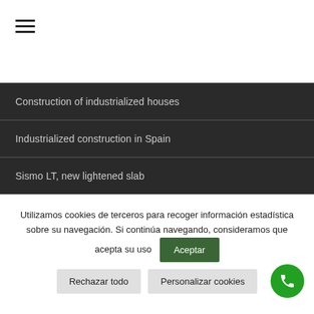[Figure (other): Hamburger menu icon (three horizontal lines)]
Construction of industrialized houses
Industrialized construction in Spain
Sismo LT, new lightened slab
Utilizamos cookies de terceros para recoger información estadística sobre su navegación. Si continúa navegando, consideramos que acepta su uso
Aceptar
Rechazar todo
Personalizar cookies